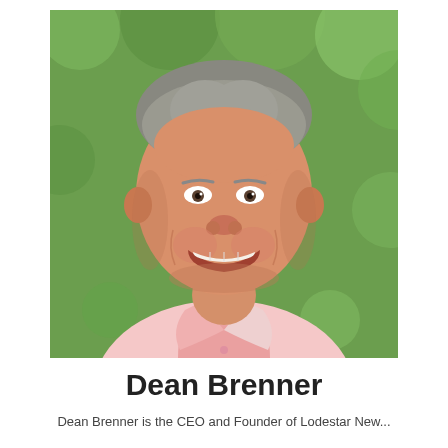[Figure (photo): Headshot photo of Dean Brenner, a middle-aged man with short grey-brown hair, smiling broadly, wearing a light pink button-down shirt, photographed outdoors with green foliage in the background.]
Dean Brenner
Dean Brenner is the CEO and Founder of Lodestar New...